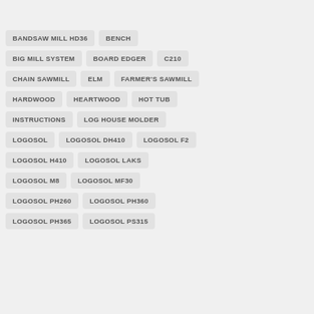BANDSAW MILL HD36
BENCH
BIG MILL SYSTEM
BOARD EDGER
C210
CHAIN SAWMILL
ELM
FARMER'S SAWMILL
HARDWOOD
HEARTWOOD
HOT TUB
INSTRUCTIONS
LOG HOUSE MOLDER
LOGOSOL
LOGOSOL DH410
LOGOSOL F2
LOGOSOL H410
LOGOSOL LAKS
LOGOSOL M8
LOGOSOL MF30
LOGOSOL PH260
LOGOSOL PH360
LOGOSOL PH365
LOGOSOL PS315